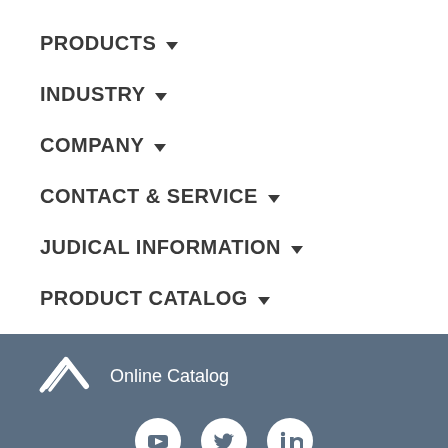PRODUCTS ▾
INDUSTRY ▾
COMPANY ▾
CONTACT & SERVICE ▾
JUDICAL INFORMATION ▾
PRODUCT CATALOG ▾
[Figure (logo): Company logo in white on dark blue-grey footer background with text 'Online Catalog']
[Figure (infographic): Social media icons: YouTube, Twitter, LinkedIn in white circles on blue-grey background]
Legal notice